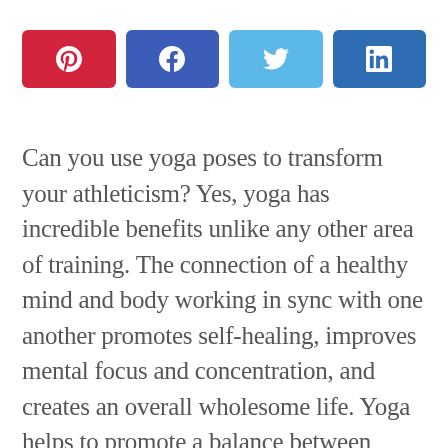[Figure (infographic): Four social media share buttons in a row: Pinterest (red), Facebook (blue), Twitter (light blue), LinkedIn (dark blue), each with their respective icons.]
Can you use yoga poses to transform your athleticism? Yes, yoga has incredible benefits unlike any other area of training. The connection of a healthy mind and body working in sync with one another promotes self-healing, improves mental focus and concentration, and creates an overall wholesome life. Yoga helps to promote a balance between mental, physical, and spiritual well-being. As yoga has the power to change your entire life, the focus here is to